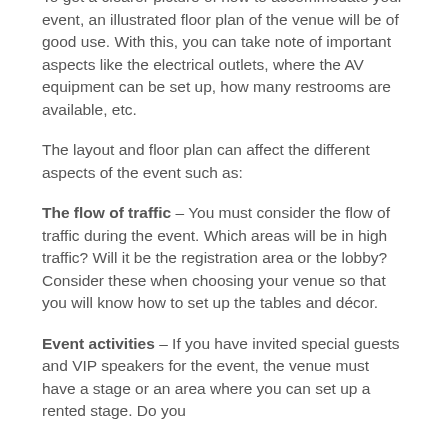and the attendees will need during the event.
To get a clearer picture of how to accommodate your event, an illustrated floor plan of the venue will be of good use. With this, you can take note of important aspects like the electrical outlets, where the AV equipment can be set up, how many restrooms are available, etc.
The layout and floor plan can affect the different aspects of the event such as:
The flow of traffic – You must consider the flow of traffic during the event. Which areas will be in high traffic? Will it be the registration area or the lobby? Consider these when choosing your venue so that you will know how to set up the tables and décor.
Event activities – If you have invited special guests and VIP speakers for the event, the venue must have a stage or an area where you can set up a rented stage. Do you